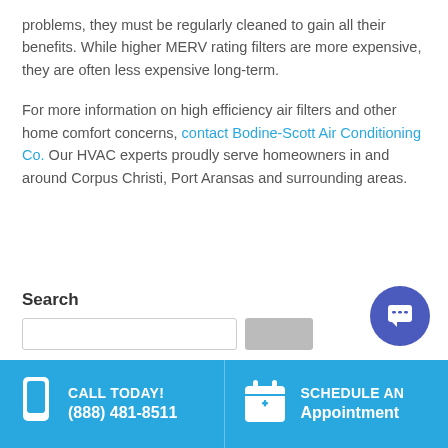problems, they must be regularly cleaned to gain all their benefits. While higher MERV rating filters are more expensive, they are often less expensive long-term.
For more information on high efficiency air filters and other home comfort concerns, contact Bodine-Scott Air Conditioning Co. Our HVAC experts proudly serve homeowners in and around Corpus Christi, Port Aransas and surrounding areas.
Search
CALL TODAY! (888) 481-8511   SCHEDULE AN Appointment